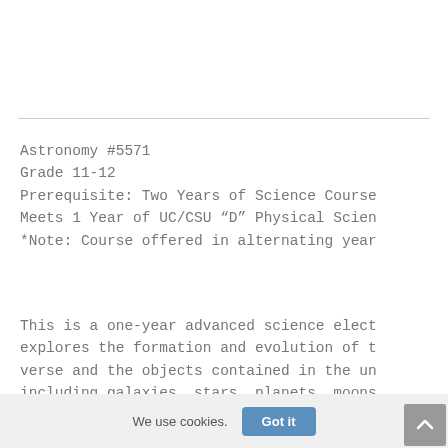Astronomy #5571
Grade 11-12
Prerequisite: Two Years of Science Course
Meets 1 Year of UC/CSU “D” Physical Scien
*Note: Course offered in alternating year
This is a one-year advanced science elect explores the formation and evolution of t verse and the objects contained in the un including galaxies, stars, planets, moons
We use cookies.